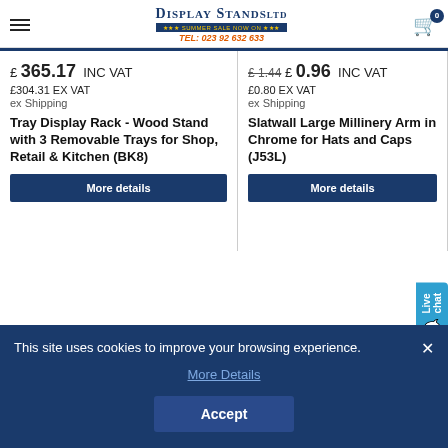Display Stands Ltd - TEL: 023 92 632 633
£ 365.17 INC VAT £304.31 EX VAT ex Shipping
Tray Display Rack - Wood Stand with 3 Removable Trays for Shop, Retail & Kitchen (BK8)
£ 1.44 £ 0.96 INC VAT £0.80 EX VAT ex Shipping
Slatwall Large Millinery Arm in Chrome for Hats and Caps (J53L)
This site uses cookies to improve your browsing experience.
More Details
Accept